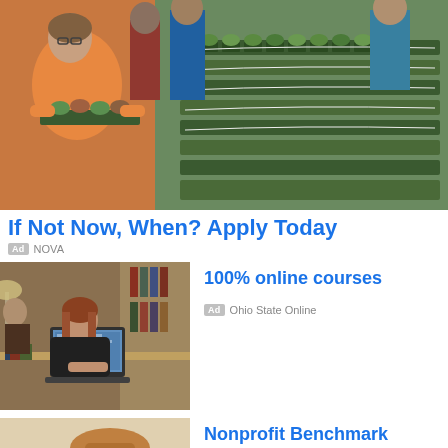[Figure (photo): People in a greenhouse holding trays of small plants, with rows of plant containers in the background]
If Not Now, When? Apply Today
Ad  NOVA
[Figure (photo): Woman working on a laptop in a library or study setting]
100% online courses
Ad  Ohio State Online
[Figure (photo): A rubber stamp with NONPROFIT text visible in mirror image]
Nonprofit Benchmark Survey
Ad  DonorDirect